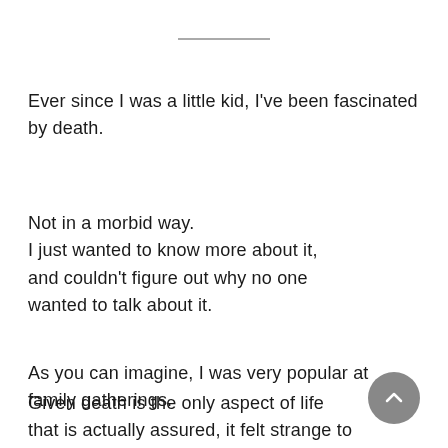Ever since I was a little kid, I've been fascinated by death.
Not in a morbid way.
I just wanted to know more about it, and couldn't figure out why no one wanted to talk about it.
As you can imagine, I was very popular at family gatherings.
Given death is the only aspect of life that is actually assured, it felt strange to grow up in a culture that